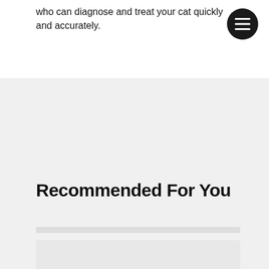who can diagnose and treat your cat quickly and accurately.
Recommended For You
[Figure (other): Placeholder card image area in light gray, part of a recommended content card below the section header]